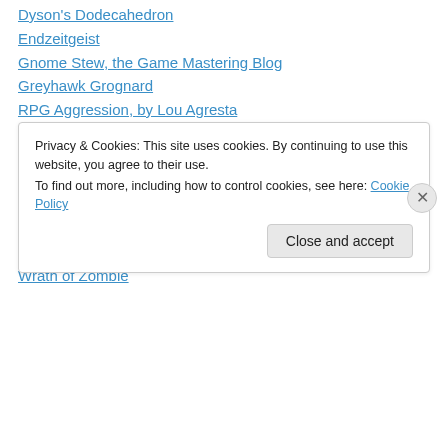Dyson's Dodecahedron
Endzeitgeist
Gnome Stew, the Game Mastering Blog
Greyhawk Grognard
RPG Aggression, by Lou Agresta
Stargazer's World
Stuffer Shack
The Alexandrian
The Free RPG Blog
Trollsmyth, Another Austinite!
Worlds in a Handful of Dice, by NiTessine
Wrath of Zombie
Privacy & Cookies: This site uses cookies. By continuing to use this website, you agree to their use. To find out more, including how to control cookies, see here: Cookie Policy